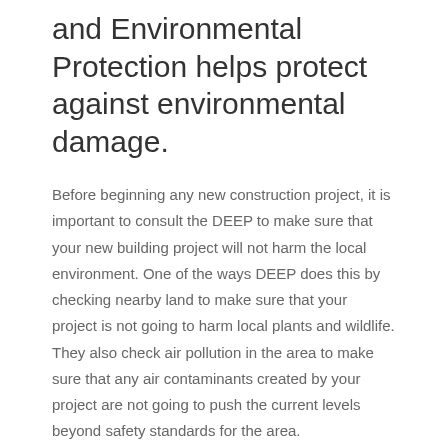and Environmental Protection helps protect against environmental damage.
Before beginning any new construction project, it is important to consult the DEEP to make sure that your new building project will not harm the local environment. One of the ways DEEP does this by checking nearby land to make sure that your project is not going to harm local plants and wildlife. They also check air pollution in the area to make sure that any air contaminants created by your project are not going to push the current levels beyond safety standards for the area.
How the Department of Energy and Environmental Protection